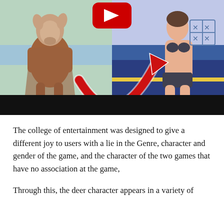[Figure (illustration): A YouTube video thumbnail showing two illustrated game characters side by side: on the left, a brown deer-like creature standing upright; on the right, a female humanoid figure in a dark bikini. A large red arrow points from the deer figure toward the female figure. A YouTube play button icon is visible at the top center. The bottom portion of the image is covered by a black bar.]
The college of entertainment was designed to give a different joy to users with a lie in the Genre, character and gender of the game, and the character of the two games that have no association at the game,
Through this, the deer character appears in a variety of